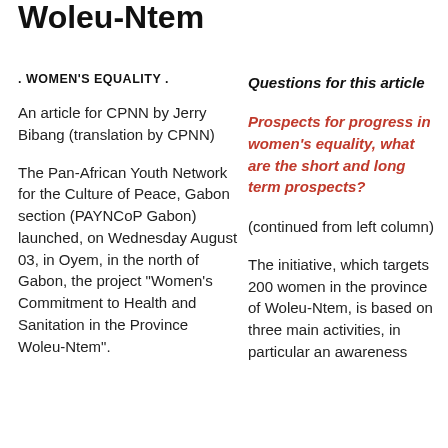Woleu-Ntem
. WOMEN'S EQUALITY .
Questions for this article
An article for CPNN by Jerry Bibang (translation by CPNN)
Prospects for progress in women's equality, what are the short and long term prospects?
The Pan-African Youth Network for the Culture of Peace, Gabon section (PAYNCoP Gabon) launched, on Wednesday August 03, in Oyem, in the north of Gabon, the project “Women’s Commitment to Health and Sanitation in the Province Woleu-Ntem”.
(continued from left column)
The initiative, which targets 200 women in the province of Woleu-Ntem, is based on three main activities, in particular an awareness